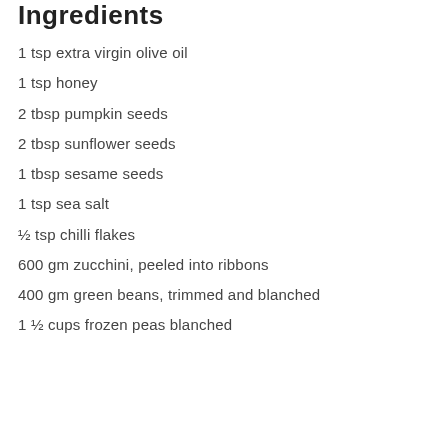Ingredients
1 tsp extra virgin olive oil
1 tsp honey
2 tbsp pumpkin seeds
2 tbsp sunflower seeds
1 tbsp sesame seeds
1 tsp sea salt
½ tsp chilli flakes
600 gm zucchini, peeled into ribbons
400 gm green beans, trimmed and blanched
1 ½ cups frozen peas blanched